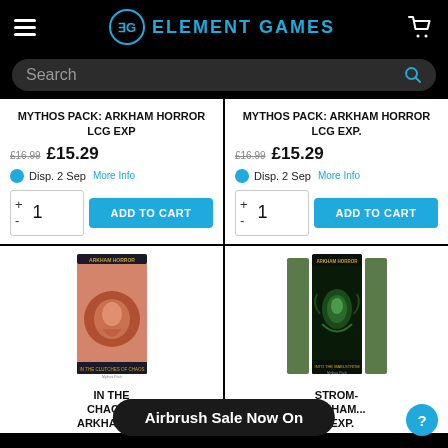Element Games
Search
MYTHOS PACK: ARKHAM HORROR LCG EXP
£16.99 £15.29 Disp. 2 Sep More Info
MYTHOS PACK: ARKHAM HORROR LCG EXP.
£16.99 £15.29 Disp. 2 Sep More Info
[Figure (photo): Arkham Horror LCG card game box art - In the Clutches of Chaos]
IN THE CHAOS... ARKHAM H...
[Figure (photo): Arkham Horror LCG card game box art - Into the Maelstrom]
STROM- ARKHAM... G EXP.
Airbrush Sale Now On